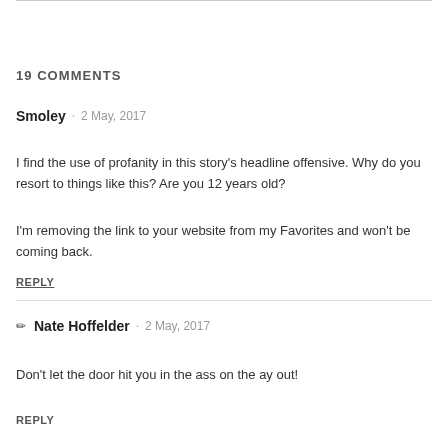19 COMMENTS
Smoley · 2 May, 2017
I find the use of profanity in this story's headline offensive. Why do you resort to things like this? Are you 12 years old?
I'm removing the link to your website from my Favorites and won't be coming back.
REPLY
✏ Nate Hoffelder · 2 May, 2017
Don't let the door hit you in the ass on the ay out!
REPLY